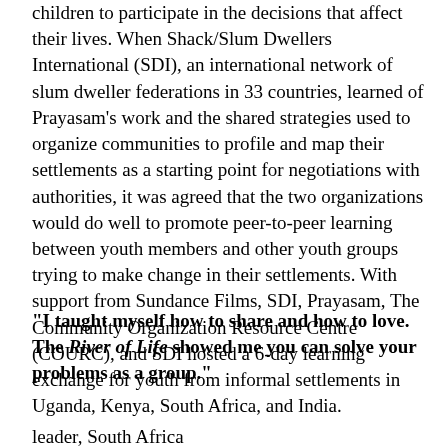children to participate in the decisions that affect their lives. When Shack/Slum Dwellers International (SDI), an international network of slum dweller federations in 33 countries, learned of Prayasam's work and the shared strategies used to organize communities to profile and map their settlements as a starting point for negotiations with authorities, it was agreed that the two organizations would do well to promote peer-to-peer learning between youth members and other youth groups trying to make change in their settlements. With support from Sundance Films, SDI, Prayasam, The Community Organization Resource Centre (COURC), and SDI hosted a 6-day learning exchange for youth from informal settlements in Uganda, Kenya, South Africa, and India.
“I taught myself how to share and how to love. The River of Life showed me you can solve your problems as a group.”
leader, South Africa